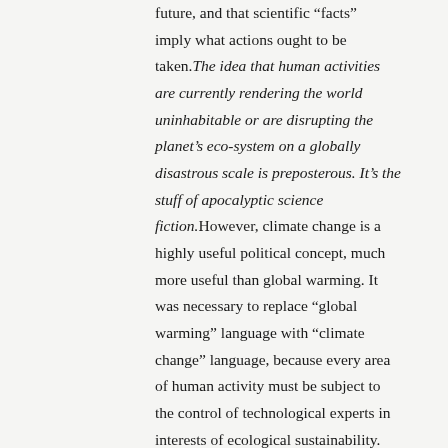future, and that scientific “facts” imply what actions ought to be taken. The idea that human activities are currently rendering the world uninhabitable or are disrupting the planet’s eco-system on a globally disastrous scale is preposterous. It’s the stuff of apocalyptic science fiction. However, climate change is a highly useful political concept, much more useful than global warming. It was necessary to replace “global warming” language with “climate change” language, because every area of human activity must be subject to the control of technological experts in interests of ecological sustainability.